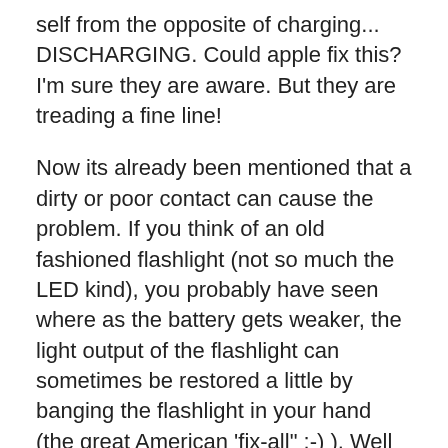self from the opposite of charging... DISCHARGING. Could apple fix this? I'm sure they are aware. But they are treading a fine line!
Now its already been mentioned that a dirty or poor contact can cause the problem. If you think of an old fashioned flashlight (not so much the LED kind), you probably have seen where as the battery gets weaker, the light output of the flashlight can sometimes be restored a little by banging the flashlight in your hand (the great American 'fix-all" :-) ). Well this is the same reason why it is often helpful to keep the contacts clean. But electrically, the best thing to do is often difficult. If you're dealing with a newer I-phone which has a standard USB plug on both ends, you may be able to keep your inexpensive charger and obtain a better cable. Look for the words "high current" or current ratings of "2 amps". If its an older I-phone with the "apple only" connector, finding a better cable will be a challenge. Especially with the way search